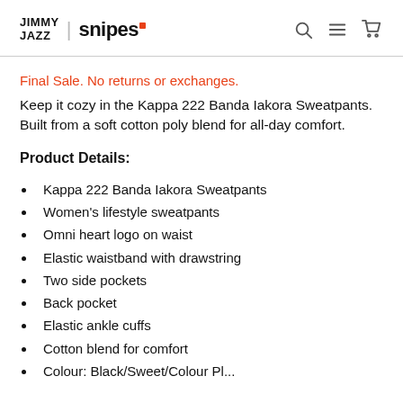JIMMY JAZZ | snipes
Final Sale. No returns or exchanges.
Keep it cozy in the Kappa 222 Banda Iakora Sweatpants. Built from a soft cotton poly blend for all-day comfort.
Product Details:
Kappa 222 Banda Iakora Sweatpants
Women's lifestyle sweatpants
Omni heart logo on waist
Elastic waistband with drawstring
Two side pockets
Back pocket
Elastic ankle cuffs
Cotton blend for comfort
Colour: Black/Sweet/Colour Pl...